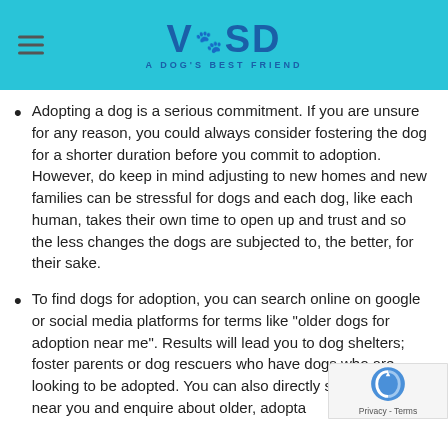VOSD - A DOG'S BEST FRIEND
Adopting a dog is a serious commitment. If you are unsure for any reason, you could always consider fostering the dog for a shorter duration before you commit to adoption. However, do keep in mind adjusting to new homes and new families can be stressful for dogs and each dog, like each human, takes their own time to open up and trust and so the less changes the dogs are subjected to, the better, for their sake.
To find dogs for adoption, you can search online on google or social media platforms for terms like "older dogs for adoption near me". Results will lead you to dog shelters; foster parents or dog rescuers who have dogs who are looking to be adopted. You can also directly search shelters near you and enquire about older, adoptable dogs.